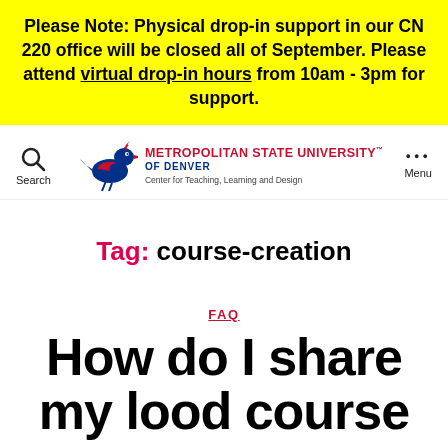Please Note: Physical drop-in support in our CN 220 office will be closed all of September. Please attend virtual drop-in hours from 10am - 3pm for support.
[Figure (logo): Metropolitan State University of Denver logo with roadrunner bird mascot, red text 'METROPOLITAN STATE UNIVERSITY OF DENVER', and subtitle 'Center for Teaching, Learning and Design'. Navigation bar with Search icon on left and Menu (three dots) on right.]
Tag: course-creation
FAQ
How do I share my lood course